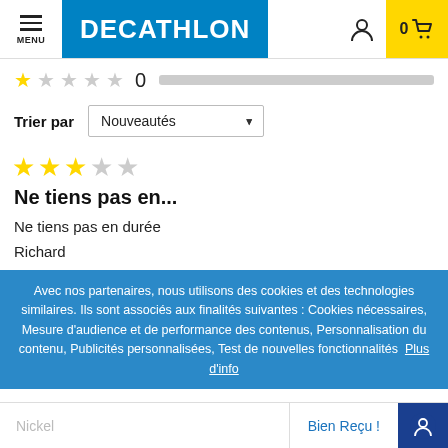[Figure (screenshot): Decathlon website header with hamburger menu, Decathlon logo in blue, user icon, and cart icon with 0 items on yellow background]
★☆☆☆☆ 0 [progress bar]
Trier par  Nouveautés ▼
[Figure (other): 3 out of 5 stars rating]
Ne tiens pas en...
Ne tiens pas en durée
Richard
Avec nos partenaires, nous utilisons des cookies et des technologies similaires. Ils sont associés aux finalités suivantes : Cookies nécessaires, Mesure d'audience et de performance des contenus, Personnalisation du contenu, Publicités personnalisées, Test de nouvelles fonctionnalités  Plus d'info
Nickel  Bien Reçu !